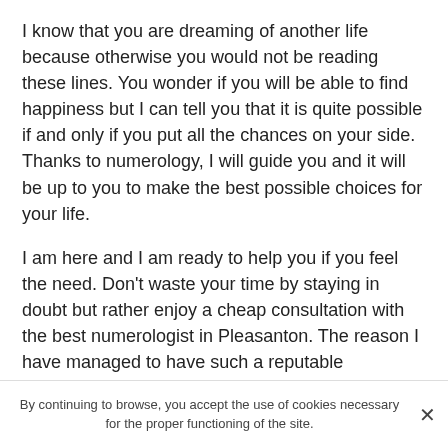I know that you are dreaming of another life because otherwise you would not be reading these lines. You wonder if you will be able to find happiness but I can tell you that it is quite possible if and only if you put all the chances on your side. Thanks to numerology, I will guide you and it will be up to you to make the best possible choices for your life.
I am here and I am ready to help you if you feel the need. Don't waste your time by staying in doubt but rather enjoy a cheap consultation with the best numerologist in Pleasanton. The reason I have managed to have such a reputable numerology practice is because I have already helped many people as you will see in the few reviews below. I can only advise you to do as all these individuals have done, but I leave you free to make your own decisions. Are you ready to hear the truth and face your
By continuing to browse, you accept the use of cookies necessary for the proper functioning of the site.